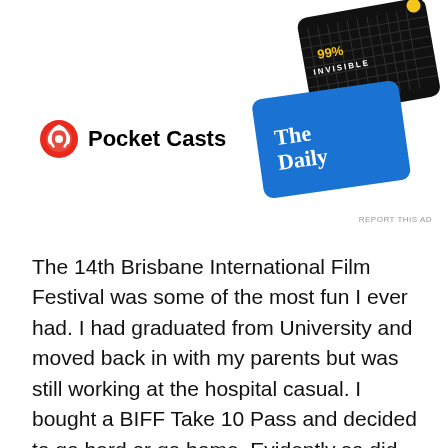[Figure (advertisement): Pocket Casts podcast app advertisement featuring the Pocket Casts logo (circular icon with antenna/wave design in red and white) with 'Pocket Casts' text, alongside podcast cover art images including '99% Invisible' (dark background with grid) and 'The Daily' (blue background with white text) tilted at an angle. Small 'REPORT THIS AD' text in bottom right.]
The 14th Brisbane International Film Festival was some of the most fun I ever had. I had graduated from University and moved back in with my parents but was still working at the hospital casual. I bought a BIFF Take 10 Pass and decided to go hard or go home. Evidently so did the organisers of BIFF, there were over 200 films screened, a free public screening program across the suburbs for kids called Cine Sparks and a relocation to South Bank Cinemas. While the bulk of movies screening were at South Bank, the BIFF Offices were still located at Regent. In 2004 the whole program ran out of the Regent in their 4